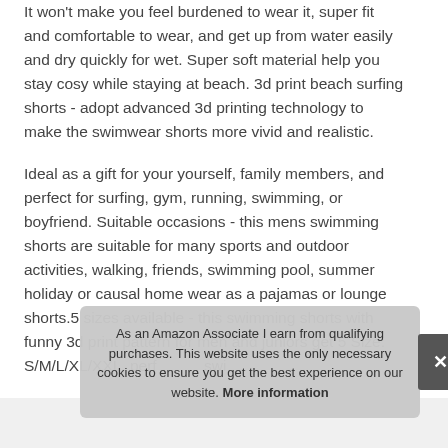It won't make you feel burdened to wear it, super fit and comfortable to wear, and get up from water easily and dry quickly for wet. Super soft material help you stay cosy while staying at beach. 3d print beach surfing shorts - adopt advanced 3d printing technology to make the swimwear shorts more vivid and realistic.
Ideal as a gift for your yourself, family members, and perfect for surfing, gym, running, swimming, or boyfriend. Suitable occasions - this mens swimming shorts are suitable for many sports and outdoor activities, walking, friends, swimming pool, summer holiday or causal home wear as a pajamas or lounge shorts.5 sizes available - this swimming shorts with funny 3d print pattern for men and juniors get 5 Size: S/M/L/XL/XXL, perf... swi...
As an Amazon Associate I earn from qualifying purchases. This website uses the only necessary cookies to ensure you get the best experience on our website. More information